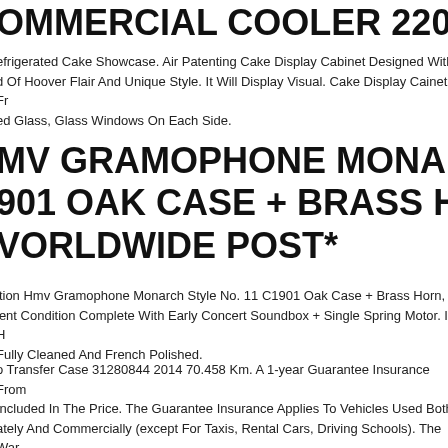OMMERCIAL COOLER 220V US
efrigerated Cake Showcase. Air Patenting Cake Display Cabinet Designed With d Of Hoover Flair And Unique Style. It Will Display Visual. Cake Display Cainet. Fr ed Glass, Glass Windows On Each Side.
MV GRAMOPHONE MONARCH NO 11 901 OAK CASE + BRASS HORN, VGC VORLDWIDE POST*
ition Hmv Gramophone Monarch Style No. 11 C1901 Oak Case + Brass Horn, lent Condition Complete With Early Concert Soundbox + Single Spring Motor. It H Fully Cleaned And French Polished.
o Transfer Case 31280844 2014 70.458 Km. A 1-year Guarantee Insurance From Included In The Price. The Guarantee Insurance Applies To Vehicles Used Both ately And Commercially (except For Taxis, Rental Cars, Driving Schools). The War ance Can Only Be Taken Out For Vehicles Registered In Germany. In Order To Ta he Guarantee Insurance, We Need Your Vehicle Registration Document And The ge Of Your Vehicle. You Will Receive The Insurance Documents And Guarantee itions By Email. Since We Also Offer Our Spare Parts On Other Portals, We Expre rve The Right To Prior Sale. Please Ask For Availability Before Purchasing. Afte